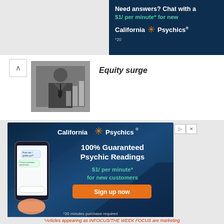[Figure (screenshot): California Psychics banner advertisement at top right: dark blue background, text 'Need answers? Chat with a', '$1/ per minute* for new' in teal, California Psychics logo with orange star, '*20' footnote]
Equity surge
[Figure (photo): Thumbnail image of a businessman in suit with bar chart graphics]
[Figure (screenshot): California Psychics advertisement: dark blue background with phone illustration, '100% Guaranteed Psychic Readings', '$1/ per minute* for new customers', 'Sign up now' orange button, '*20 minutes purchase required']
*Articles appearing as INFOCUS/THE WEEK FOCUS are marketing